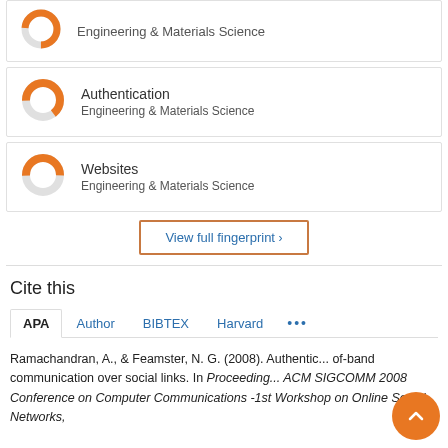[Figure (donut-chart): Donut chart showing partial fill for Engineering & Materials Science (Authentication)]
Authentication
Engineering & Materials Science
[Figure (donut-chart): Donut chart showing partial fill for Engineering & Materials Science (Websites)]
Websites
Engineering & Materials Science
View full fingerprint >
Cite this
APA  Author  BIBTEX  Harvard  ...
Ramachandran, A., & Feamster, N. G. (2008). Authentic... of-band communication over social links. In Proceedings... ACM SIGCOMM 2008 Conference on Computer Communications -1st Workshop on Online Social Networks,